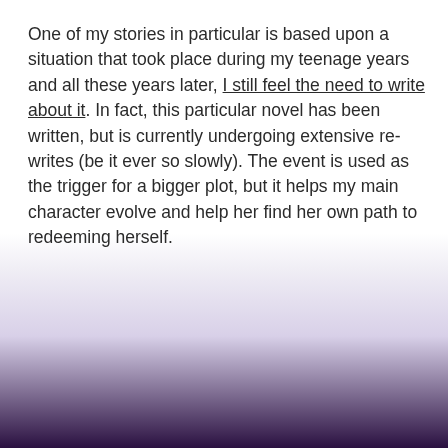One of my stories in particular is based upon a situation that took place during my teenage years and all these years later, I still feel the need to write about it. In fact, this particular novel has been written, but is currently undergoing extensive re-writes (be it ever so slowly). The event is used as the trigger for a bigger plot, but it helps my main character evolve and help her find her own path to redeeming herself.